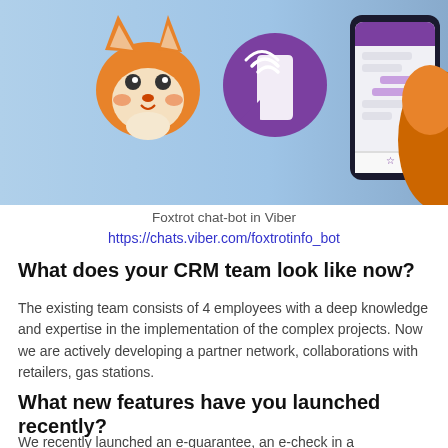[Figure (illustration): Promotional banner with light blue background showing a cartoon fox emoji, a purple Viber phone icon, and a smartphone displaying a Viber chat interface with a large orange fox character on the right side.]
Foxtrot chat-bot in Viber
https://chats.viber.com/foxtrotinfo_bot
What does your CRM team look like now?
The existing team consists of 4 employees with a deep knowledge and expertise in the implementation of the complex projects. Now we are actively developing a partner network, collaborations with retailers, gas stations.
What new features have you launched recently?
We recently launched an e-guarantee, an e-check in a